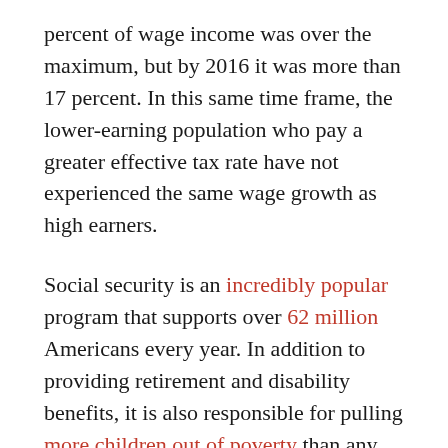percent of wage income was over the maximum, but by 2016 it was more than 17 percent. In this same time frame, the lower-earning population who pay a greater effective tax rate have not experienced the same wage growth as high earners.
Social security is an incredibly popular program that supports over 62 million Americans every year. In addition to providing retirement and disability benefits, it is also responsible for pulling more children out of poverty than any other program.
With such compelling evidence of its value and near-universal support from the American people, there is no reason Social Security should be viewed as